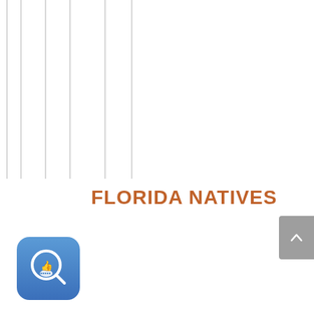[Figure (illustration): Vertical decorative lines in light gray on the left side of the page]
FLORIDA NATIVES
[Figure (logo): Blue rounded square app icon with a white magnifying glass and ribbon/badge seal emblem]